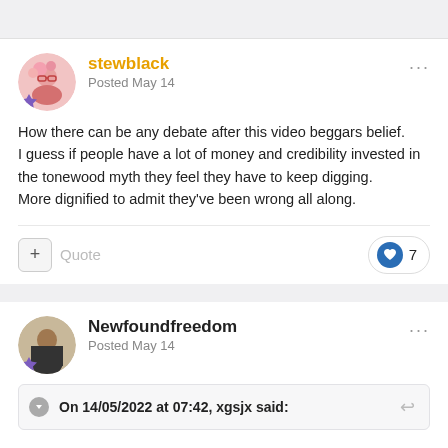stewblack
Posted May 14
How there can be any debate after this video beggars belief. I guess if people have a lot of money and credibility invested in the tonewood myth they feel they have to keep digging. More dignified to admit they've been wrong all along.
Newfoundfreedom
Posted May 14
On 14/05/2022 at 07:42, xgsjx said: